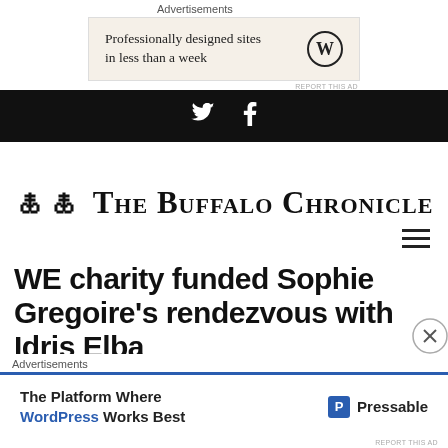Advertisements
[Figure (other): Advertisement banner: 'Professionally designed sites in less than a week' with WordPress logo]
[Figure (other): Black social media bar with Twitter and Facebook icons]
The Buffalo Chronicle
[Figure (other): Hamburger menu icon (three horizontal lines)]
WE charity funded Sophie Gregoire's rendezvous with Idris Elba
Advertisements
[Figure (other): Advertisement: 'The Platform Where WordPress Works Best' by Pressable]